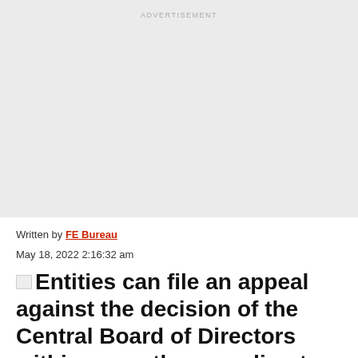[Figure (other): Advertisement placeholder block with light gray background and 'ADVERTISEMENT' label at top center]
Written by FE Bureau
May 18, 2022 2:16:32 am
Entities can file an appeal against the decision of the Central Board of Directors within a month, according to the guidelines.